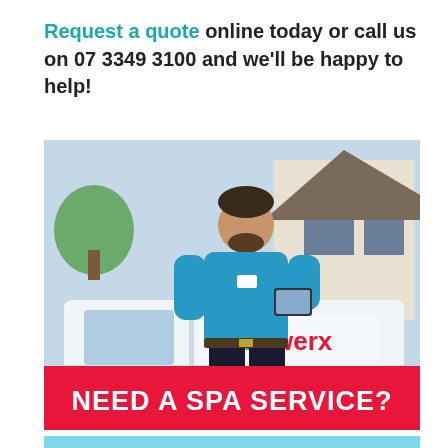Request a quote online today or call us on 07 3349 3100 and we'll be happy to help!
[Figure (photo): Poolwerx technician in blue uniform holding a tablet standing in front of a white Poolwerx branded van, with a residential background. Red banner at bottom reads 'NEED A SPA SERVICE?']
GET A QUOTE →